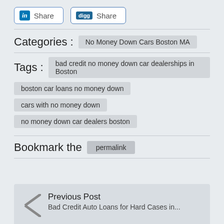[Figure (other): LinkedIn Share button and Digg Share button]
Categories : No Money Down Cars Boston MA
Tags : bad credit no money down car dealerships in Boston
boston car loans no money down
cars with no money down
no money down car dealers boston
Bookmark the permalink
Previous Post